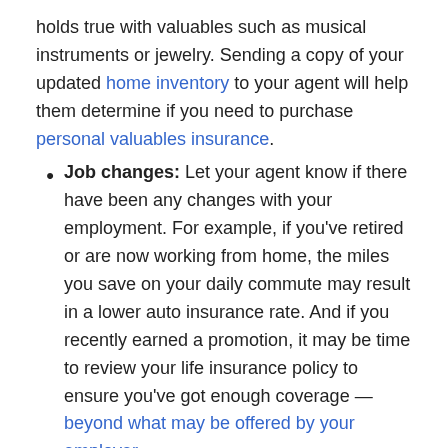holds true with valuables such as musical instruments or jewelry. Sending a copy of your updated home inventory to your agent will help them determine if you need to purchase personal valuables insurance.
Job changes: Let your agent know if there have been any changes with your employment. For example, if you've retired or are now working from home, the miles you save on your daily commute may result in a lower auto insurance rate. And if you recently earned a promotion, it may be time to review your life insurance policy to ensure you've got enough coverage — beyond what may be offered by your employer.